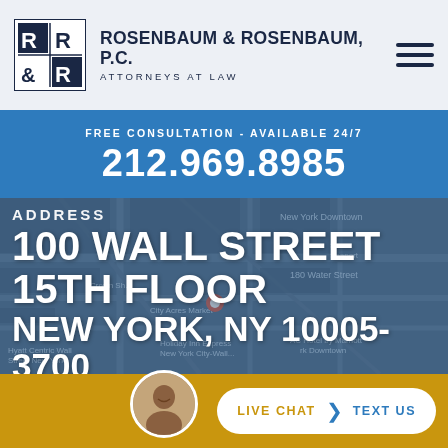[Figure (logo): Rosenbaum & Rosenbaum P.C. law firm logo — R&R in a square box with dark blue background]
ROSENBAUM & ROSENBAUM, P.C. ATTORNEYS AT LAW
FREE CONSULTATION - AVAILABLE 24/7
212.969.8985
[Figure (map): Google Maps view of lower Manhattan near Wall Street / New York Downtown area showing Water Street and surrounding streets]
ADDRESS
100 WALL STREET
15TH FLOOR
NEW YORK, NY 10005-3700
LIVE CHAT  TEXT US